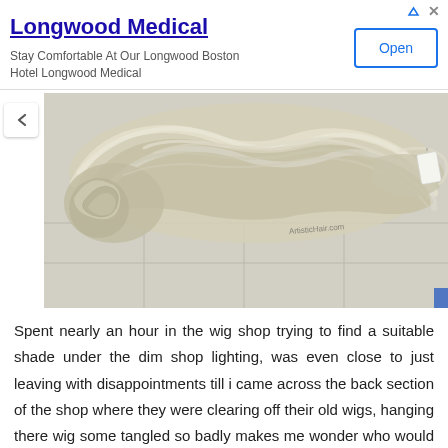[Figure (screenshot): Advertisement banner for Longwood Medical hotel. Shows title 'Longwood Medical', subtitle 'Stay Comfortable At Our Longwood Boston Hotel Longwood Medical', an 'Open' button, and ad indicator arrows.]
[Figure (photo): Photograph of a blonde/platinum wavy wig laid out on a light-colored tiled floor. The wig appears tangled and curly. A small tag or label is visible on the right side. A watermark text 'ArtisticHair.com' is visible near the bottom right of the wig.]
Spent nearly an hour in the wig shop trying to find a suitable shade under the dim shop lighting, was even close to just leaving with disappointments till i came across the back section of the shop where they were clearing off their old wigs, hanging there wig some tangled so badly makes me wonder who would even buy it lol.